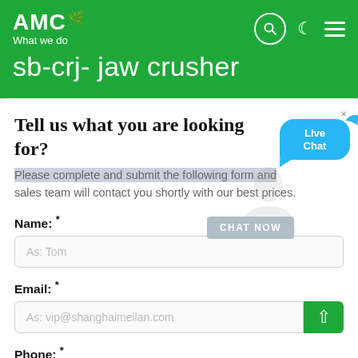[Figure (logo): AMC logo with leaf icon and tagline 'What we do']
sb-crj- jaw crusher
Tell us what you are looking for?
Please complete and submit the following form and our sales team will contact you shortly with our best prices.
Name: *
As: Tom
Email: *
As: vip@shanghaimeilan.com
Phone: *
With Country Code